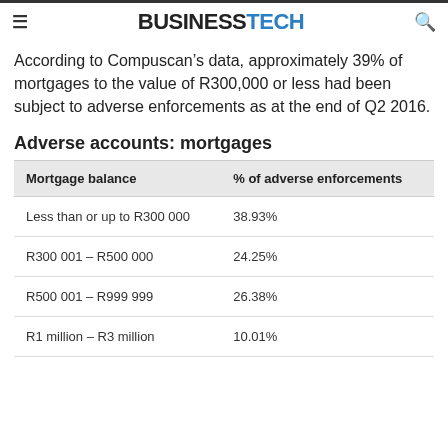BUSINESSTECH
According to Compuscan’s data, approximately 39% of mortgages to the value of R300,000 or less had been subject to adverse enforcements as at the end of Q2 2016.
Adverse accounts: mortgages
| Mortgage balance | % of adverse enforcements |
| --- | --- |
| Less than or up to R300 000 | 38.93% |
| R300 001 – R500 000 | 24.25% |
| R500 001 – R999 999 | 26.38% |
| R1 million – R3 million | 10.01% |